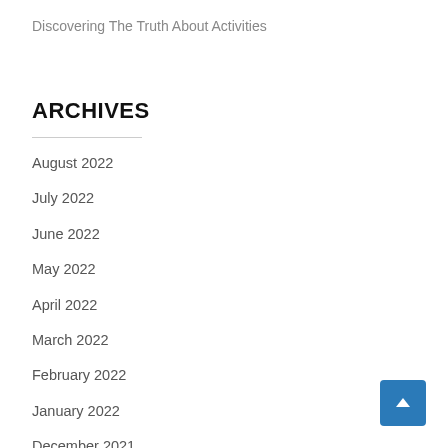Discovering The Truth About Activities
ARCHIVES
August 2022
July 2022
June 2022
May 2022
April 2022
March 2022
February 2022
January 2022
December 2021
November 2021